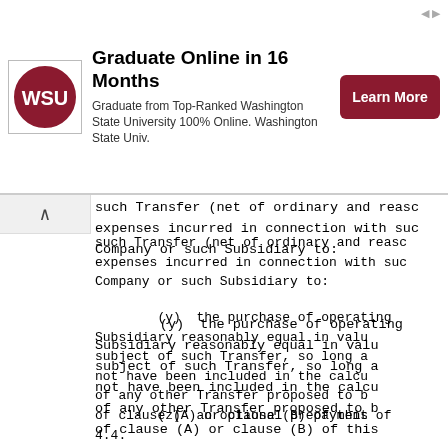[Figure (other): Advertisement banner for Washington State University Online Graduate Program with WSU logo, text 'Graduate Online in 16 Months', description 'Graduate from Top-Ranked Washington State University 100% Online. Washington State Univ.' and a red 'Learn More' button.]
such Transfer (net of ordinary and reasonable expenses incurred in connection with such Company or such Subsidiary to:
(y)  the purchase of operating assets by Subsidiary reasonably equal in value to the subject of such Transfer, so long as such not have been included in the calculation of any other Transfer proposed to be made of clause (A) or clause (B) of this
(z)  an optional prepayment of 4.4.
Notwithstanding anything to the contrary contained shall not, and shall not permit any Subsidiary transfer or otherwise dispose of any of the C